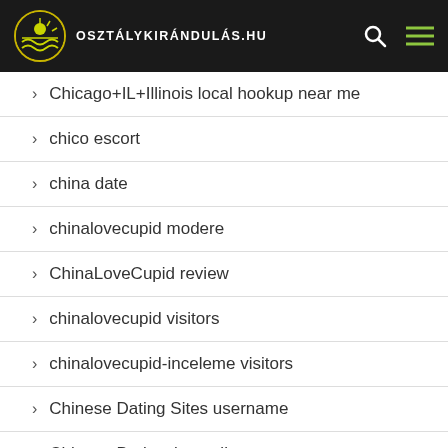osztálykirándulás.hu
Chicago+IL+Illinois local hookup near me
chico escort
china date
chinalovecupid modere
ChinaLoveCupid review
chinalovecupid visitors
chinalovecupid-inceleme visitors
Chinese Dating Sites username
Chinese Datingsites prijs
chinese-chat-room review